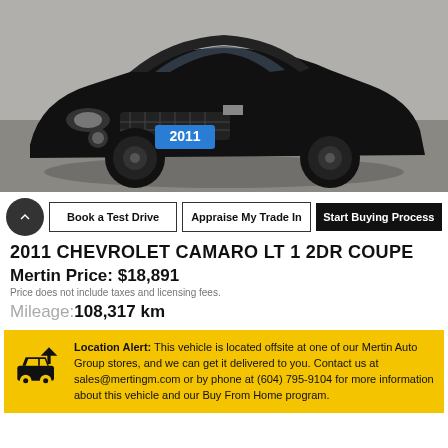[Figure (photo): Black 2011 Chevrolet Camaro convertible parked, front 3/4 view, with a blue license plate showing '2011']
Book a Test Drive | Appraise My Trade In | Start Buying Process
2011 CHEVROLET CAMARO LT 1 2DR COUPE
Mertin Price: $18,891
Price does not include taxes and licensing fees.
Mileage: 108,317 km
Location Alert: This vehicle is located offsite at one of our Mertin Auto Group stores, and we can get it delivered to you. Contact us at sales@mertingm.com or by phone at (604) 795-9104 for more information about this vehicle and our Buy From Home program.